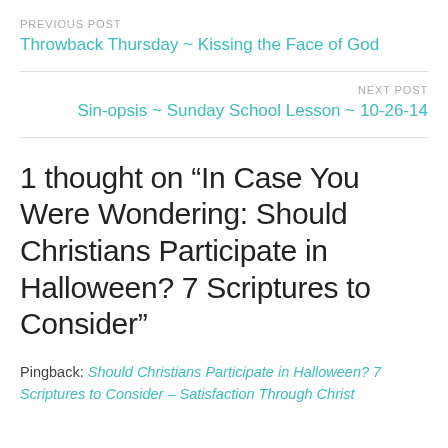PREVIOUS POST
Throwback Thursday ~ Kissing the Face of God
NEXT POST
Sin-opsis ~ Sunday School Lesson ~ 10-26-14
1 thought on “In Case You Were Wondering: Should Christians Participate in Halloween? 7 Scriptures to Consider”
Pingback: Should Christians Participate in Halloween? 7 Scriptures to Consider - Satisfaction Through Christ